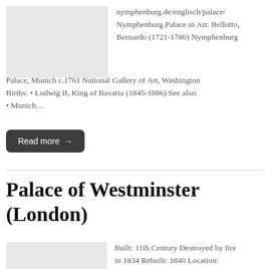[Figure (photo): Partial image placeholder (light gray) for Nymphenburg Palace]
nymphenburg.de/englisch/palace/ Nymphenburg Palace in Art: Bellotto, Bernardo (1721-1780) Nymphenburg Palace, Munich c.1761 National Gallery of Art, Washington Births: • Ludwig II, King of Bavaria (1845-1886) See also: • Munich…
Read more →
Palace of Westminster (London)
[Figure (photo): Partial image placeholder (light gray) for Palace of Westminster]
Built: 11th Century Destroyed by fire in 1834 Rebuilt: 1840 Location: Westminster, London SW1A 0AA Website: https://www.parliament.uk/ Palace of Westminster in Art: Darcin…